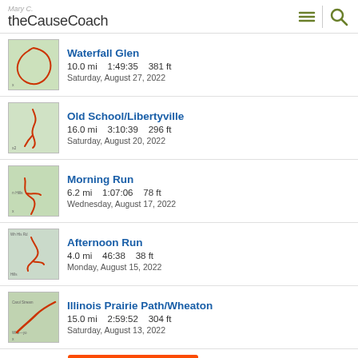Mary C. theCauseCoach
Waterfall Glen — 10.0 mi  1:49:35  381 ft — Saturday, August 27, 2022
Old School/Libertyville — 16.0 mi  3:10:39  296 ft — Saturday, August 20, 2022
Morning Run — 6.2 mi  1:07:06  78 ft — Wednesday, August 17, 2022
Afternoon Run — 4.0 mi  46:38  38 ft — Monday, August 15, 2022
Illinois Prairie Path/Wheaton — 15.0 mi  2:59:52  304 ft — Saturday, August 13, 2022
STRAVA  View all of Mary's activity »